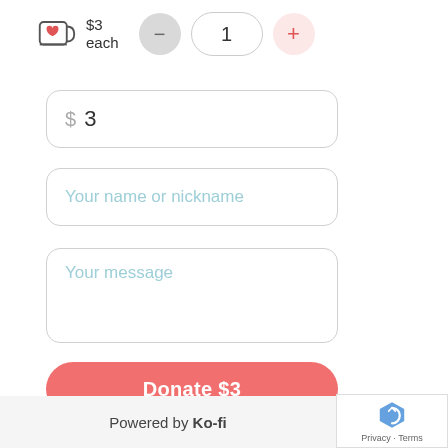[Figure (infographic): Ko-fi donation widget UI showing a coffee cup icon with heart, price $3 each, quantity selector with minus button, count of 1, and plus button]
$3 each
$ 3
Your name or nickname
Your message
Donate $3
Ko-fi doesn't take a fee!
Powered by Ko-fi
Privacy · Terms